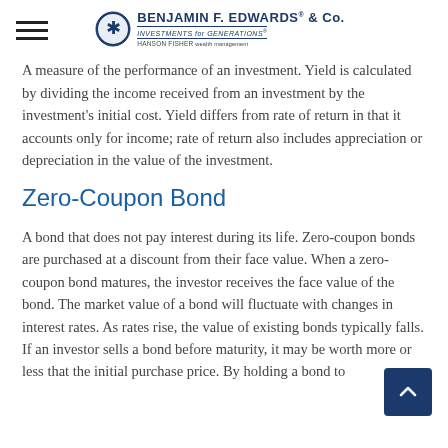Benjamin F. Edwards & Co. — Investments for Generations — Hanson Fisher
A measure of the performance of an investment. Yield is calculated by dividing the income received from an investment by the investment's initial cost. Yield differs from rate of return in that it accounts only for income; rate of return also includes appreciation or depreciation in the value of the investment.
Zero-Coupon Bond
A bond that does not pay interest during its life. Zero-coupon bonds are purchased at a discount from their face value. When a zero-coupon bond matures, the investor receives the face value of the bond. The market value of a bond will fluctuate with changes in interest rates. As rates rise, the value of existing bonds typically falls. If an investor sells a bond before maturity, it may be worth more or less that the initial purchase price. By holding a bond to